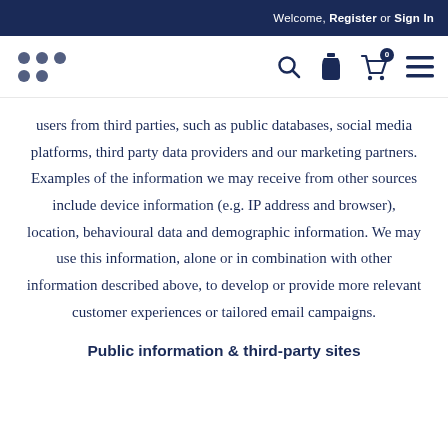Welcome, Register or Sign In
[Figure (logo): Dot-grid logo icon on the left and navigation icons (search, wishlist/bottle, cart with badge 0, hamburger menu) on the right]
users from third parties, such as public databases, social media platforms, third party data providers and our marketing partners. Examples of the information we may receive from other sources include device information (e.g. IP address and browser), location, behavioural data and demographic information. We may use this information, alone or in combination with other information described above, to develop or provide more relevant customer experiences or tailored email campaigns.
Public information & third-party sites